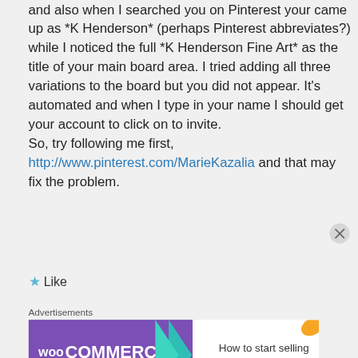and also when I searched you on Pinterest your came up as *K Henderson* (perhaps Pinterest abbreviates?) while I noticed the full *K Henderson Fine Art* as the title of your main board area. I tried adding all three variations to the board but you did not appear. It's automated and when I type in your name I should get your account to click on to invite.
So, try following me first,
http://www.pinterest.com/MarieKazalia and that may fix the problem.
Like
Advertisements
[Figure (screenshot): WooCommerce advertisement banner: purple left section with WooCommerce logo and green arrow, right section with text 'How to start selling subscriptions online', orange and blue leaf decorations]